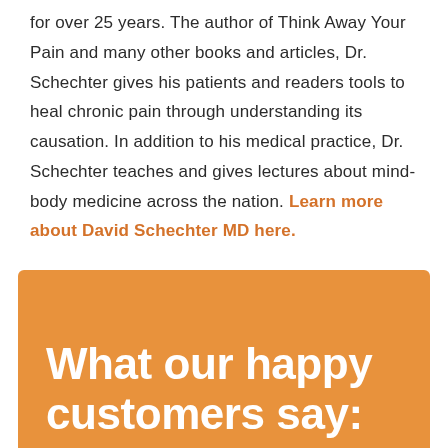for over 25 years. The author of Think Away Your Pain and many other books and articles, Dr. Schechter gives his patients and readers tools to heal chronic pain through understanding its causation. In addition to his medical practice, Dr. Schechter teaches and gives lectures about mind-body medicine across the nation. Learn more about David Schechter MD here.
What our happy customers say: